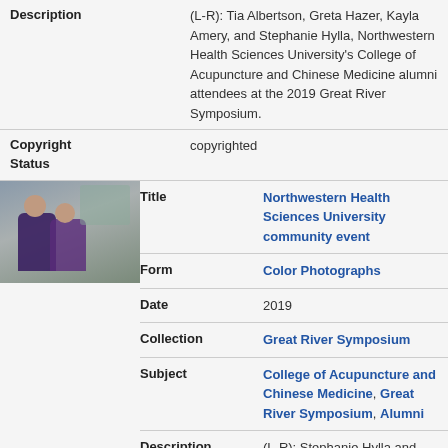| Field | Value |
| --- | --- |
| Description | (L-R): Tia Albertson, Greta Hazer, Kayla Amery, and Stephanie Hylla, Northwestern Health Sciences University's College of Acupuncture and Chinese Medicine alumni attendees at the 2019 Great River Symposium. |
| Copyright Status | copyrighted |
| Title | Northwestern Health Sciences University community event |
| Form | Color Photographs |
| Date | 2019 |
| Collection | Great River Symposium |
| Subject | College of Acupuncture and Chinese Medicine, Great River Symposium, Alumni |
| Description | (L-R): Stephanie Hylla and Bonnie Bolash, Northwestern Health Sciences University's College of Acupuncture and Chinese Medicine alumni at the 2019 Great River Symposium. |
[Figure (photo): Thumbnail photo of two people at the 2019 Great River Symposium]